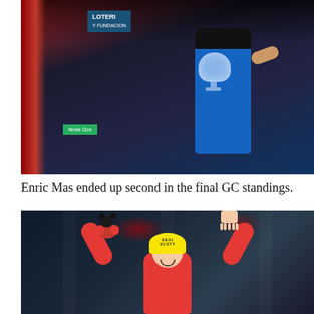[Figure (photo): Cycling podium photo showing Enric Mas in blue jersey holding a crystal/glass trophy on a ceremony stage with sponsor banners including LOTER and Fenie Gre visible]
Enric Mas ended up second in the final GC standings.
[Figure (photo): Vuelta a España podium photo showing a cyclist in red leader's jersey with arms raised in victory celebration, holding a Vuelta bull mascot toy in one hand, wearing a yellow Scot helmet, smiling]